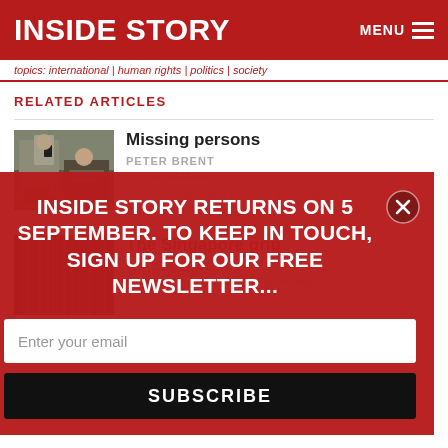INSIDE STORY
topics: international | human rights | politics | society
RELATED ARTICLES
[Figure (photo): Photo of two people in a parliament setting]
Missing persons
PETER BRENT
20 DECEMBER 2021
MPs' popularity (and the extra advantage of being a first-termer) is rarely included in
[Figure (photo): Abstract striped image]
The Singapore grip
TIM COLEBATCH
Singapore is critical to ASEAN. Pulling...
INSIDE STORY RETURNS ON 5 SEPTEMBER. TO KEEP IN TOUCH, SIGN UP FOR OUR FREE NEWSLETTER...
Enter your email
SUBSCRIBE